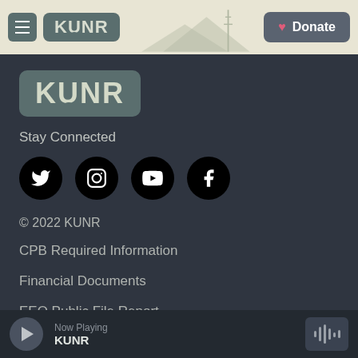KUNR — Donate
[Figure (logo): KUNR logo in body — teal rounded rectangle with KUNR text]
Stay Connected
[Figure (infographic): Social media icons row: Twitter, Instagram, YouTube, Facebook — black circles with white icons]
© 2022 KUNR
CPB Required Information
Financial Documents
EEO Public File Report
Now Playing KUNR